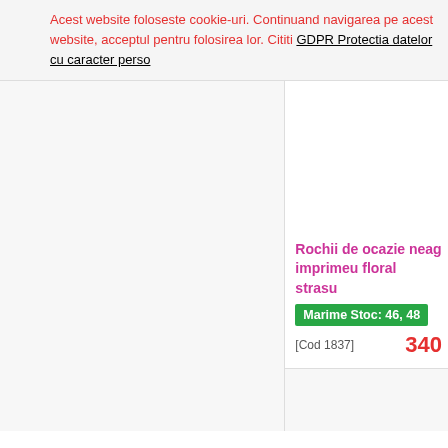Acest website foloseste cookie-uri. Continuand navigarea pe acest website, acceptul pentru folosirea lor. Cititi GDPR Protectia datelor cu caracter perso...
[Figure (photo): Left panel image placeholder - product photo area (blank/light grey)]
[Figure (photo): Right upper panel - product image area (blank/white)]
Rochii de ocazie neag... imprimeu floral strasu...
Marime Stoc: 46, 48
[Cod 1837]
340
[Figure (photo): Bottom right panel - second product image area (blank/light grey)]